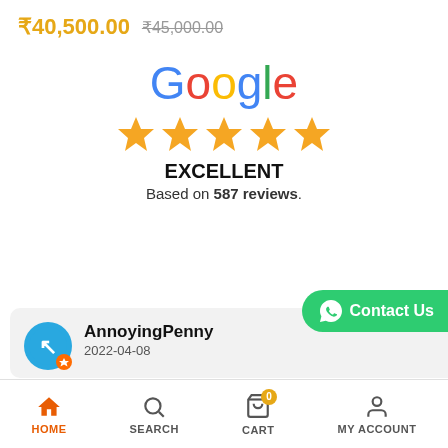₹40,500.00  ₹45,000.00
[Figure (logo): Google logo with multicolor letters]
[Figure (infographic): 5 gold stars rating]
EXCELLENT
Based on 587 reviews.
[Figure (infographic): Green Contact Us button with WhatsApp icon]
Available from
[Figure (infographic): Blue circle avatar with A letter and orange star badge. Reviewer: AnnoyingPenny, 2022-04-08]
AnnoyingPenny
2022-04-08
[Figure (infographic): 5 small gold stars and verified checkmark badge]
Great experience, got the product in 3 days and in perfect condition with great package
Went their vile parle branch as well, pretty friend
HOME  SEARCH  CART  MY ACCOUNT